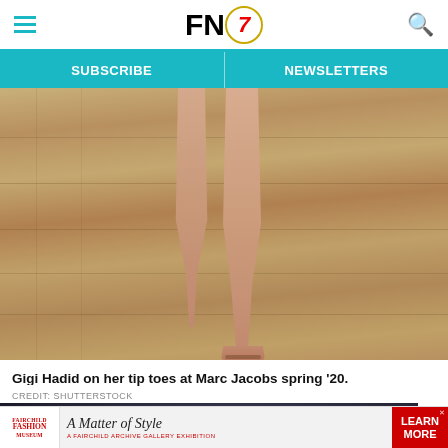FN7 — Footwear News header with hamburger menu, logo, and search icon
SUBSCRIBE | NEWSLETTERS
[Figure (photo): Close-up photo of Gigi Hadid's bare legs and feet on a wooden runway floor, walking on tip toes, wearing minimal sandals at Marc Jacobs spring '20 show.]
Gigi Hadid on her tip toes at Marc Jacobs spring '20.
CREDIT: SHUTTERSTOCK
[Figure (photo): Partial view of a second photo showing dark background with yellow/gold blur, likely from another fashion show or event.]
[Figure (other): Advertisement banner for Fairchild Fashion Museum — 'A Matter of Style: A Fairchild Archive Gallery Exhibition' with Learn More CTA button.]